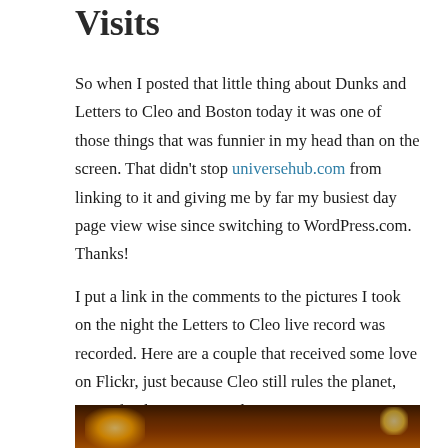Visits
So when I posted that little thing about Dunks and Letters to Cleo and Boston today it was one of those things that was funnier in my head than on the screen. That didn't stop universehub.com from linking to it and giving me by far my busiest day page view wise since switching to WordPress.com.  Thanks!
I put a link in the comments to the pictures I took on the night the Letters to Cleo live record was recorded. Here are a couple that received some love on Flickr, just because Cleo still rules the planet, even after being gone so long.
[Figure (photo): A concert photo showing a dimly lit stage with red curtains and string lights, with a performer and stage lighting visible]